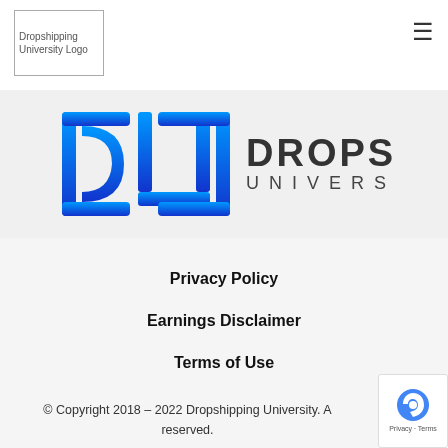Dropshipping University Logo [hamburger menu icon]
[Figure (logo): Dropshipping University logo: stylized blue DU bracket icon on left, bold dark text DROPSHIPPING on top line and UNIVERSITY on bottom line in smaller spaced letters]
Privacy Policy
Earnings Disclaimer
Terms of Use
Sitemap
© Copyright 2018 – 2022 Dropshipping University. All rights reserved.